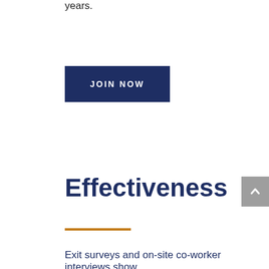years.
JOIN NOW
Effectiveness
Exit surveys and on-site co-worker interviews show